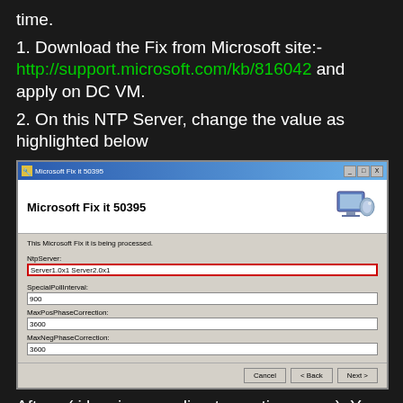time.
1. Download the Fix from Microsoft site:- http://support.microsoft.com/kb/816042 and apply on DC VM.
2. On this NTP Server, change the value as highlighted below
[Figure (screenshot): Microsoft Fix it 50395 dialog window showing NTP configuration fields: NtpServer (Server1.0x1 Server2.0x1, highlighted in red border), SpecialPollInterval (900), MaxPosPhaseCorrection (3600), MaxNegPhaseCorrection (3600), with Cancel, Back, Next buttons.]
After:- ( i key in according to my time zone). You can refer to